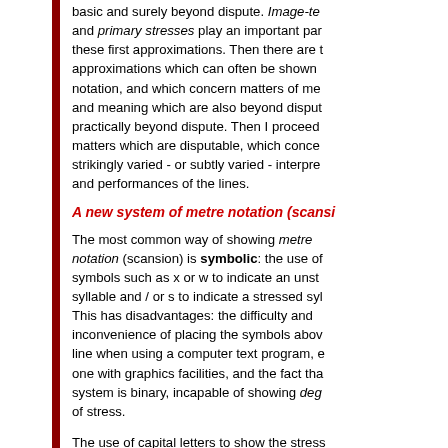basic and surely beyond dispute. Image-te and primary stresses play an important par these first approximations. Then there are t approximations which can often be shown notation, and which concern matters of me and meaning which are also beyond disput practically beyond dispute. Then I proceed matters which are disputable, which conce strikingly varied - or subtly varied - interpre and performances of the lines.
A new system of metre notation (scansi
The most common way of showing metre notation (scansion) is symbolic: the use of symbols such as x or w to indicate an unst syllable and / or s to indicate a stressed syl This has disadvantages: the difficulty and inconvenience of placing the symbols abov line when using a computer text program, e one with graphics facilities, and the fact tha system is binary, incapable of showing deg of stress.
The use of capital letters to show the stress